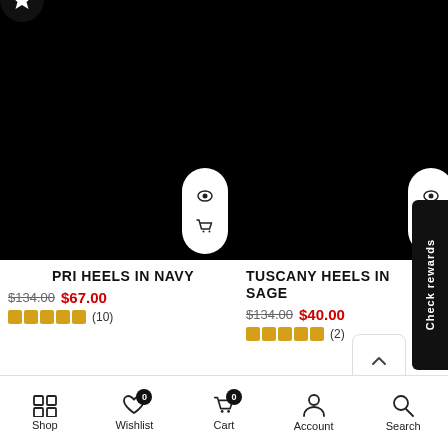[Figure (screenshot): Product image for Pri Heels in Navy — black placeholder image with quick-view pill overlay]
[Figure (screenshot): Product image for Tuscany Heels in Sage — black placeholder image with quick-view pill overlay]
PRI HEELS IN NAVY
$134.00 $67.00
(10)
TUSCANY HEELS IN SAGE
$134.00 $40.00
(2)
Check rewards
Shop  Wishlist  Cart  Account  Search